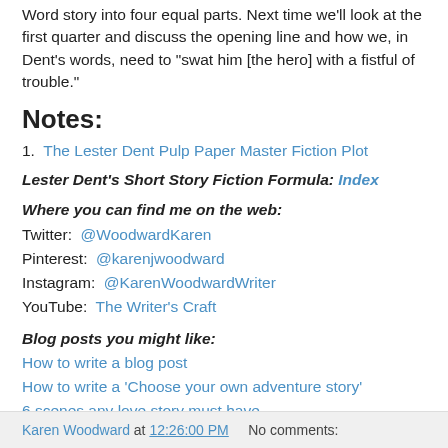Word story into four equal parts. Next time we'll look at the first quarter and discuss the opening line and how we, in Dent's words, need to "swat him [the hero] with a fistful of trouble."
Notes:
1. The Lester Dent Pulp Paper Master Fiction Plot
Lester Dent's Short Story Fiction Formula: Index
Where you can find me on the web: Twitter: @WoodwardKaren Pinterest: @karenjwoodward Instagram: @KarenWoodwardWriter YouTube: The Writer's Craft
Blog posts you might like: How to write a blog post How to write a 'Choose your own adventure story' 6 scenes any love story must have
Karen Woodward at 12:26:00 PM   No comments: